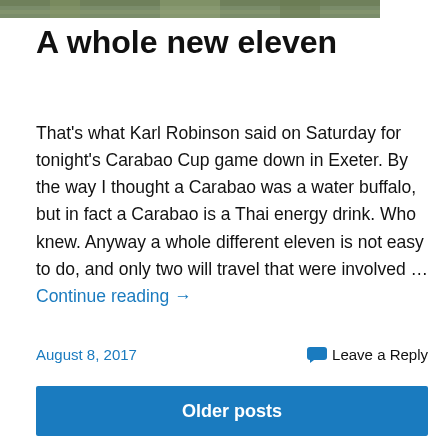[Figure (photo): Partial top edge of a nature/outdoor photo, cropped at top of page]
A whole new eleven
That's what Karl Robinson said on Saturday for tonight's Carabao Cup game down in Exeter. By the way I thought a Carabao was a water buffalo, but in fact a Carabao is a Thai energy drink. Who knew. Anyway a whole different eleven is not easy to do, and only two will travel that were involved … Continue reading →
August 8, 2017
Leave a Reply
Older posts
[Figure (other): Blue rectangle, partial view at bottom of page]